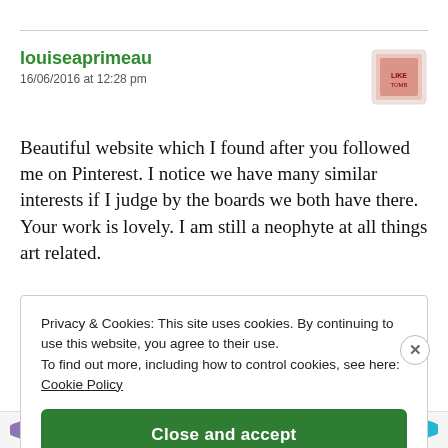louiseaprimeau
16/06/2016 at 12:28 pm
Beautiful website which I found after you followed me on Pinterest. I notice we have many similar interests if I judge by the boards we both have there. Your work is lovely. I am still a neophyte at all things art related.
Privacy & Cookies: This site uses cookies. By continuing to use this website, you agree to their use.
To find out more, including how to control cookies, see here: Cookie Policy
Close and accept